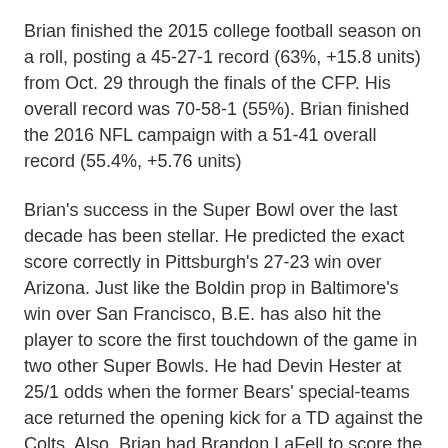Brian finished the 2015 college football season on a roll, posting a 45-27-1 record (63%, +15.8 units) from Oct. 29 through the finals of the CFP. His overall record was 70-58-1 (55%). Brian finished the 2016 NFL campaign with a 51-41 overall record (55.4%, +5.76 units)
Brian's success in the Super Bowl over the last decade has been stellar. He predicted the exact score correctly in Pittsburgh's 27-23 win over Arizona. Just like the Boldin prop in Baltimore's win over San Francisco, B.E. has also hit the player to score the first touchdown of the game in two other Super Bowls. He had Devin Hester at 25/1 odds when the former Bears' special-teams ace returned the opening kick for a TD against the Colts. Also, Brian had Brandon LaFell to score the first TD for the Patriots in 2015 at 15/1 odds.
His documented Super Bowl record on VI is 16-9 overall (64%), 11-4 in since 2009.
Brian has had by-lines in ESPN The Magazine, correctly predicting the season win totals for four of five SEC teams prior to the 2011